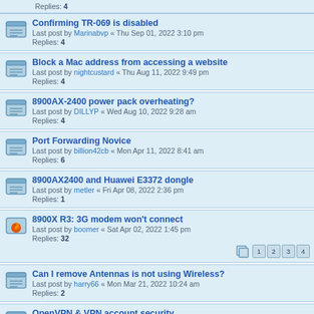Replies: 4 (partial, top of page)
Confirming TR-069 is disabled
Last post by Marinabvp « Thu Sep 01, 2022 3:10 pm
Replies: 4
Block a Mac address from accessing a website
Last post by nightcustard « Thu Aug 11, 2022 9:49 pm
Replies: 4
8900AX-2400 power pack overheating?
Last post by DILLYP « Wed Aug 10, 2022 9:28 am
Replies: 4
Port Forwarding Novice
Last post by billion42cb « Mon Apr 11, 2022 8:41 am
Replies: 6
8900AX2400 and Huawei E3372 dongle
Last post by metler « Fri Apr 08, 2022 2:36 pm
Replies: 1
8900X R3: 3G modem won't connect
Last post by boomer « Sat Apr 02, 2022 1:45 pm
Replies: 32 [pages: 1 2 3 4]
Can I remove Antennas is not using Wireless?
Last post by harry66 « Mon Mar 21, 2022 10:24 am
Replies: 2
OpenVPN & VPN account security
Last post by charliem « Fri Jan 28, 2022 11:43 pm
Testing router security
Last post by nightcustard « Sun Nov 07, 2021 7:14 pm
Replies: 2